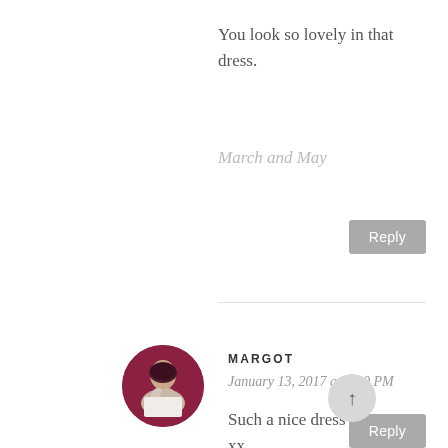You look so lovely in that dress.
March and May
Reply
MARGOT
January 13, 2017 at 9:10 PM
Such a nice dress ! xx, Margot https://troughthepasturesofthesky.com/
Reply